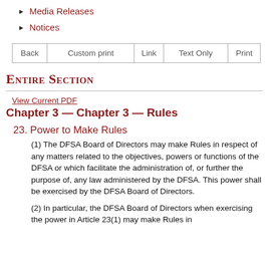Media Releases
Notices
| Back | Custom print | Link | Text Only | Print |
| --- | --- | --- | --- | --- |
Entire Section
View Current PDF
Chapter 3 — Chapter 3 — Rules
23. Power to Make Rules
(1) The DFSA Board of Directors may make Rules in respect of any matters related to the objectives, powers or functions of the DFSA or which facilitate the administration of, or further the purpose of, any law administered by the DFSA. This power shall be exercised by the DFSA Board of Directors.
(2) In particular, the DFSA Board of Directors when exercising the power in Article 23(1) may make Rules in